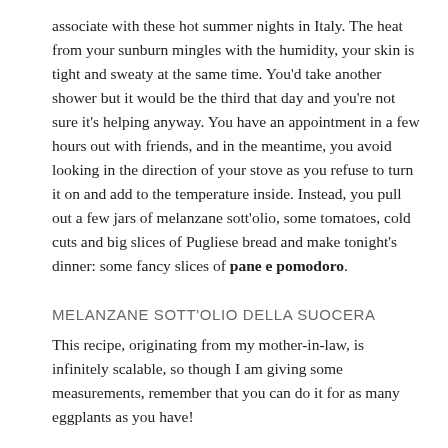associate with these hot summer nights in Italy. The heat from your sunburn mingles with the humidity, your skin is tight and sweaty at the same time. You'd take another shower but it would be the third that day and you're not sure it's helping anyway. You have an appointment in a few hours out with friends, and in the meantime, you avoid looking in the direction of your stove as you refuse to turn it on and add to the temperature inside. Instead, you pull out a few jars of melanzane sott'olio, some tomatoes, cold cuts and big slices of Pugliese bread and make tonight's dinner: some fancy slices of pane e pomodoro.
MELANZANE SOTT'OLIO DELLA SUOCERA
This recipe, originating from my mother-in-law, is infinitely scalable, so though I am giving some measurements, remember that you can do it for as many eggplants as you have!
2 large eggplants